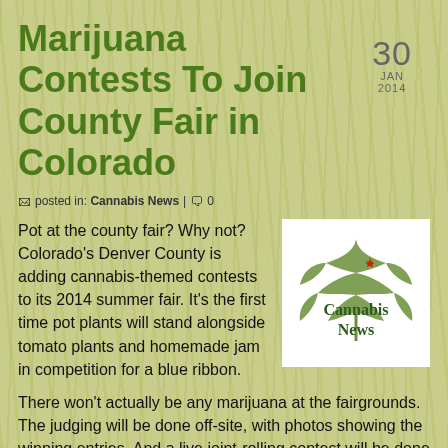Marijuana Contests To Join County Fair in Colorado
posted in: Cannabis News | 0
Pot at the county fair? Why not? Colorado's Denver County is adding cannabis-themed contests to its 2014 summer fair. It's the first time pot plants will stand alongside tomato plants and homemade jam in competition for a blue ribbon.
[Figure (logo): Cannabis News logo: green cannabis leaf with red maple leaf accent, text 'Cannabis News' in dark green serif font on white background]
There won't actually be any marijuana at the fairgrounds. The judging will be done off-site, with photos showing the winning entries. And a live joint-rolling contest will be done with oregano, not pot.